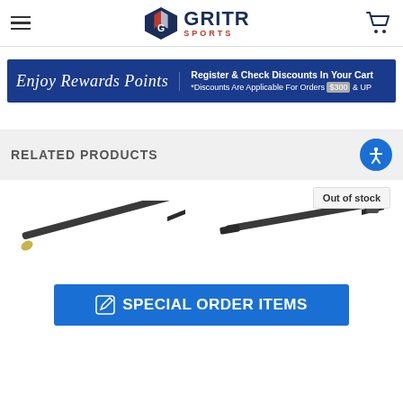GRITR SPORTS
[Figure (screenshot): Enjoy Rewards Points - Register & Check Discounts In Your Cart. *Discounts Are Applicable For Orders $300 & UP]
RELATED PRODUCTS
Out of stock
[Figure (photo): Two rifle barrels shown diagonally, dark finish]
SPECIAL ORDER ITEMS